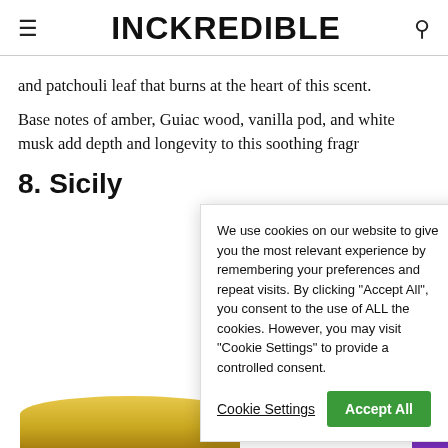INCKREDIBLE
and patchouli leaf that burns at the heart of this scent.
Base notes of amber, Guiac wood, vanilla pod, and white musk add depth and longevity to this soothing fragr…
8. Sicily
We use cookies on our website to give you the most relevant experience by remembering your preferences and repeat visits. By clicking "Accept All", you consent to the use of ALL the cookies. However, you may visit "Cookie Settings" to provide a controlled consent.
Cookie Settings  Accept All
[Figure (photo): Bottom portion of a gold candle jar visible at the bottom of the page]